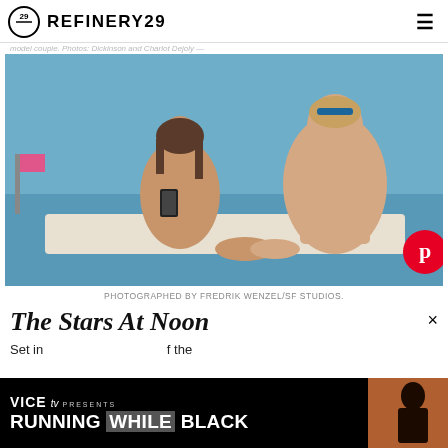REFINERY29
model couple. Photos: Dickinson and Charlot Dejoly —
[Figure (photo): A man and woman lounging on beach chairs. The woman is in a tan bikini looking at her phone and smiling. The man is shirtless with sunglasses on his head, looking upward. A Pinterest button is overlaid in the bottom right corner.]
PHOTOGRAPHED BY FREDRIK WENZEL/SF STUDIOS.
The Stars At Noon
Set in                                                  f the
[Figure (screenshot): VICE TV advertisement banner. Shows 'VICE TV PRESENTS' and 'RUNNING WHILE BLACK' text with a photo of a man. Has a close button (×) in the top right.]